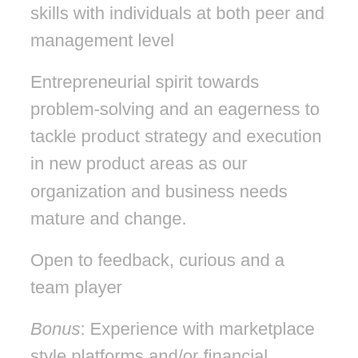skills with individuals at both peer and management level
Entrepreneurial spirit towards problem-solving and an eagerness to tackle product strategy and execution in new product areas as our organization and business needs mature and change.
Open to feedback, curious and a team player
Bonus: Experience with marketplace style platforms and/or financial products
Bonus: Experience in SEO and paid acquisition, ideally with personal experience running